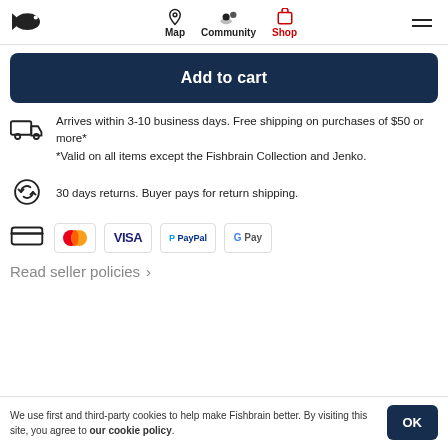Fishbrain navigation: Map, Community, Shop
Add to cart
Arrives within 3-10 business days. Free shipping on purchases of $50 or more*
*Valid on all items except the Fishbrain Collection and Jenko.
30 days returns. Buyer pays for return shipping.
[Figure (infographic): Payment method logos: Mastercard, VISA, PayPal, Google Pay]
Read seller policies >
We use first and third-party cookies to help make Fishbrain better. By visiting this site, you agree to our cookie policy.